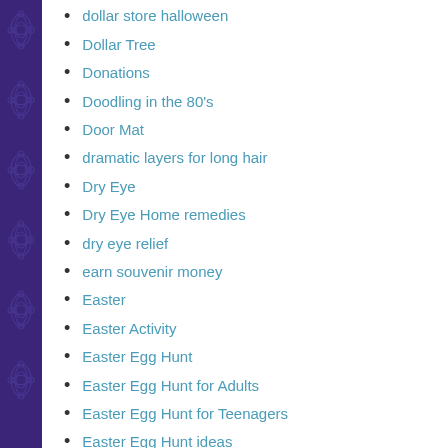dollar store halloween
Dollar Tree
Donations
Doodling in the 80's
Door Mat
dramatic layers for long hair
Dry Eye
Dry Eye Home remedies
dry eye relief
earn souvenir money
Easter
Easter Activity
Easter Egg Hunt
Easter Egg Hunt for Adults
Easter Egg Hunt for Teenagers
Easter Egg Hunt ideas
Easter Egg Hunts
Easter Eggs
Easter experiments
Easter S...